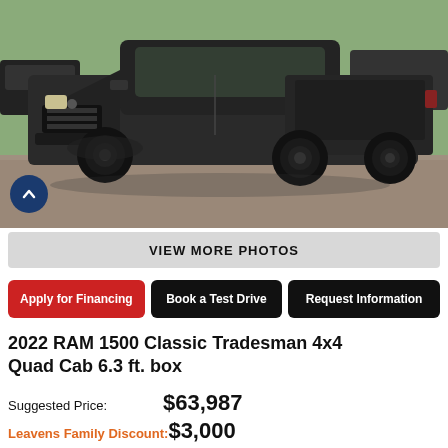[Figure (photo): Dark grey/black RAM 1500 Classic pickup truck parked in a gravel lot, front 3/4 view, with black wheels and grille. Other vehicles and green field visible in background.]
VIEW MORE PHOTOS
Apply for Financing
Book a Test Drive
Request Information
2022 RAM 1500 Classic Tradesman 4x4 Quad Cab 6.3 ft. box
Suggested Price: $63,987
Leavens Family Discount: $3,000